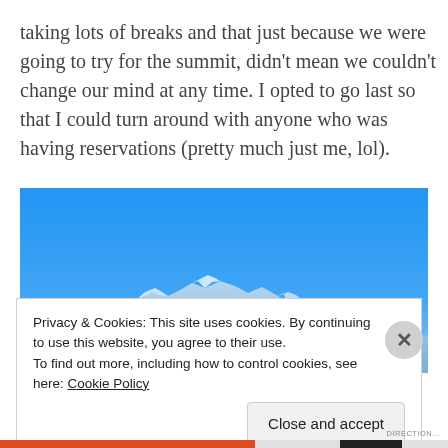taking lots of breaks and that just because we were going to try for the summit, didn't mean we couldn't change our mind at any time. I opted to go last so that I could turn around with anyone who was having reservations (pretty much just me, lol).
[Figure (photo): Panoramic photograph of snow-capped mountains under a bright blue sky, taken from a high vantage point. The upper portion is clear blue sky, with snow-covered mountain peaks visible along the bottom of the image.]
Privacy & Cookies: This site uses cookies. By continuing to use this website, you agree to their use.
To find out more, including how to control cookies, see here: Cookie Policy
Close and accept
DIRECTION...